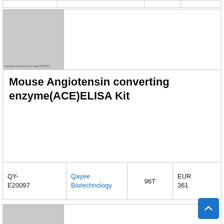[Figure (other): Gray placeholder image with watermark text for mouse ACE ELISA kit product]
Mouse Angiotensin converting enzyme(ACE)ELISA Kit
| Catalog | Supplier | Size | Price |
| --- | --- | --- | --- |
| QY-E20097 | Qayee Biotechnology | 96T | EUR 361 |
[Figure (other): Partial gray placeholder image at bottom of page for next product listing]